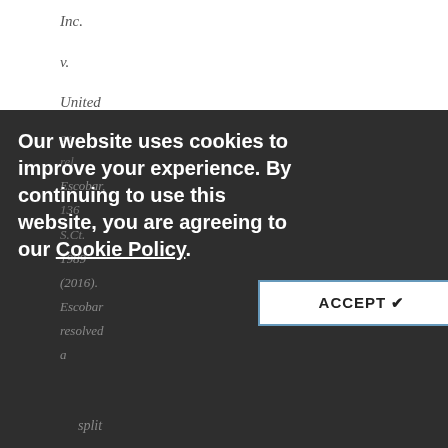Inc.
v.
United States
Our website uses cookies to improve your experience. By continuing to use this website, you are agreeing to our Cookie Policy.
ACCEPT ✔
split